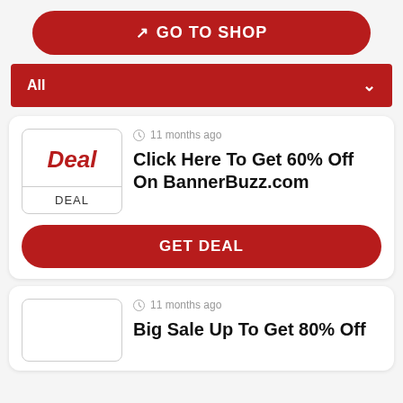[Figure (screenshot): GO TO SHOP button - red rounded rectangle with white text and external link icon]
[Figure (screenshot): Filter bar showing 'All' with dropdown chevron, red background]
11 months ago
Click Here To Get 60% Off On BannerBuzz.com
DEAL
[Figure (screenshot): GET DEAL button - red rounded rectangle with white bold text]
11 months ago
Big Sale Up To Get 80% Off